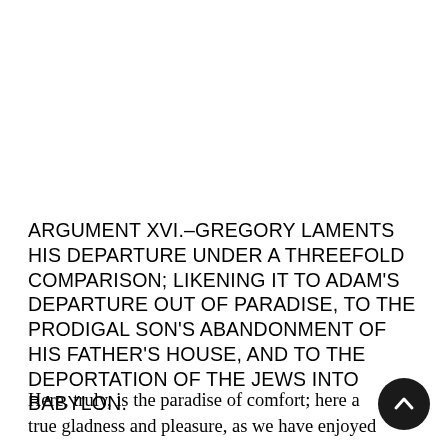ARGUMENT XVI.–GREGORY LAMENTS HIS DEPARTURE UNDER A THREEFOLD COMPARISON; LIKENING IT TO ADAM'S DEPARTURE OUT OF PARADISE, TO THE PRODIGAL SON'S ABANDONMENT OF HIS FATHER'S HOUSE, AND TO THE DEPORTATION OF THE JEWS INTO BABYLON.
Here, truly, is the paradise of comfort; here a true gladness and pleasure, as we have enjoyed